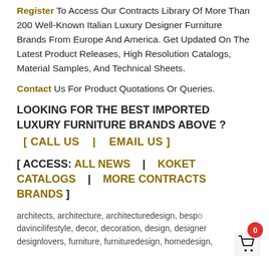Register To Access Our Contracts Library Of More Than 200 Well-Known Italian Luxury Designer Furniture Brands From Europe And America. Get Updated On The Latest Product Releases, High Resolution Catalogs, Material Samples, And Technical Sheets.
Contact Us For Product Quotations Or Queries.
LOOKING FOR THE BEST IMPORTED LUXURY FURNITURE BRANDS ABOVE ?
[ CALL US  |  EMAIL US ]
[ ACCESS: ALL NEWS  |  KOKET CATALOGS  |  MORE CONTRACTS BRANDS ]
architects, architecture, architecturedesign, bespoke, davincilifestyle, decor, decoration, design, designer, designlovers, furniture, furnituredesign, homedesign,